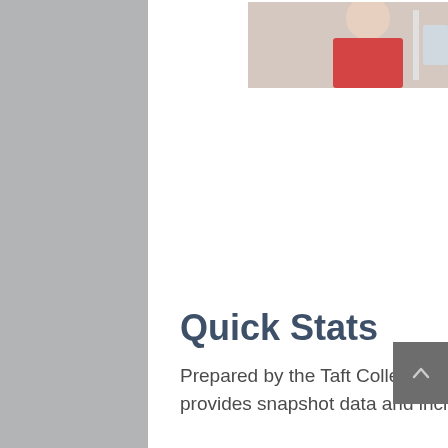[Figure (photo): Photograph of students in a laboratory or classroom setting, with scientific equipment visible. Two students appear to be conducting an experiment.]
Quick Stats
Prepared by the Taft College Institutional Research Office, Quick Stats provides snapshot data and includes campus demographics,